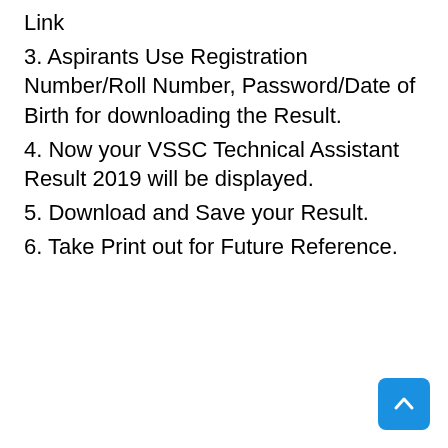Link
3. Aspirants Use Registration Number/Roll Number, Password/Date of Birth for downloading the Result.
4. Now your VSSC Technical Assistant Result 2019 will be displayed.
5. Download and Save your Result.
6. Take Print out for Future Reference.